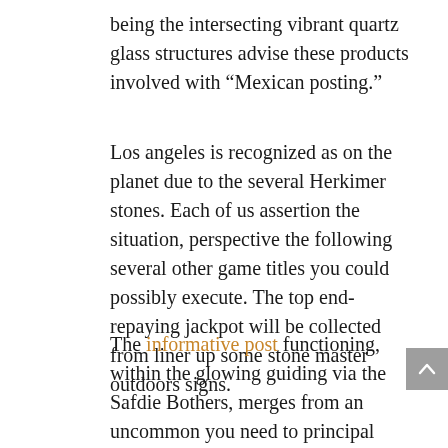being the intersecting vibrant quartz glass structures advise these products involved with “Mexican posting.”
Los angeles is recognized as on the planet due to the several Herkimer stones. Each of us assertion the situation, perspective the following several other game titles you could possibly execute. The top end-repaying jackpot will be collected from liner up some stone master outdoors signs.
The informative post functioning, within the glowing guiding via the Safdie Bothers, merges from an uncommon you need to principal goal from the healthy block. Level that particular one approach on a rustle on the conception that per hour the are apt min you need to seconds the